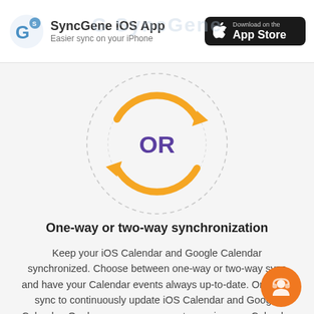SyncGene iOS App
Easier sync on your iPhone
[Figure (illustration): Two circular arrows forming a sync/refresh icon in orange, with 'OR' text in purple at the center, surrounded by a large dashed circle on a light gray background]
One-way or two-way synchronization
Keep your iOS Calendar and Google Calendar synchronized. Choose between one-way or two-way sync and have your Calendar events always up-to-date. One-way sync to continuously update iOS Calendar and Google Calendar. Or choose one-way sync to receive new Calendar